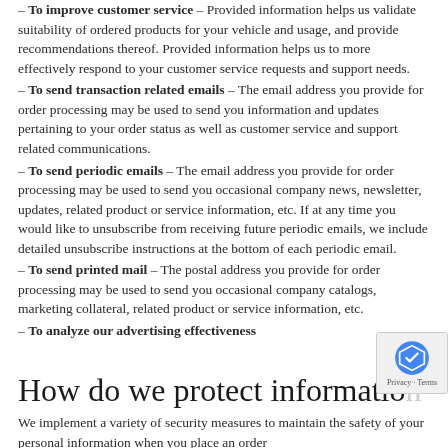– To improve customer service – Provided information helps us validate suitability of ordered products for your vehicle and usage, and provide recommendations thereof. Provided information helps us to more effectively respond to your customer service requests and support needs.
– To send transaction related emails – The email address you provide for order processing may be used to send you information and updates pertaining to your order status as well as customer service and support related communications.
– To send periodic emails – The email address you provide for order processing may be used to send you occasional company news, newsletter, updates, related product or service information, etc. If at any time you would like to unsubscribe from receiving future periodic emails, we include detailed unsubscribe instructions at the bottom of each periodic email.
– To send printed mail – The postal address you provide for order processing may be used to send you occasional company catalogs, marketing collateral, related product or service information, etc.
– To analyze our advertising effectiveness
How do we protect informatio
We implement a variety of security measures to maintain the safety of your personal information when you place an order